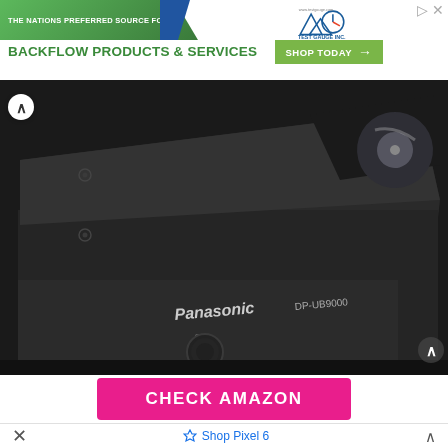[Figure (other): Advertisement banner for Test Gauge Inc. showing 'THE NATIONS PREFERRED SOURCE FOR' text on a ribbon, 'BACKFLOW PRODUCTS & SERVICES' in green text, Test Gauge Inc. logo, and a 'SHOP TODAY' green button with arrow. An X/close button is visible at top right.]
[Figure (photo): Close-up photo of a black Panasonic DP-UB9000 Blu-ray player. The front panel shows the Panasonic logo and model number DP-UB9000, a power button labeled 'ON', and a disc tray partially visible on the right side. The device has a brushed metal finish. Navigation arrows are visible on left and right sides of the image.]
[Figure (other): Pink/magenta 'CHECK AMAZON' call-to-action button]
[Figure (other): Bottom browser bar showing X close button, Google Pixel 6 shop ad with diamond icon, and expand arrow.]